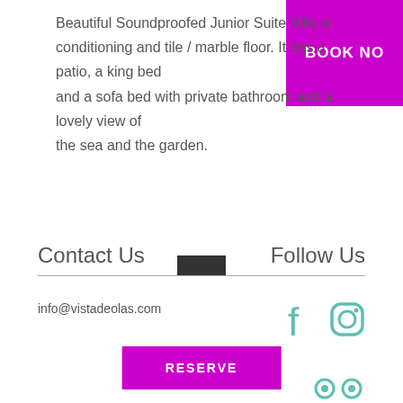Beautiful Soundproofed Junior Suite Villa w conditioning and tile / marble floor. It has a patio, a king bed and a sofa bed with private bathroom and a lovely view of the sea and the garden.
BOOK NO
RESERVE
Contact Us
Follow Us
info@vistadeolas.com